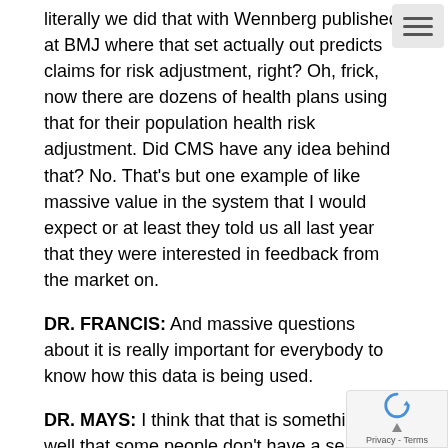literally we did that with Wennberg published at BMJ where that set actually out predicts claims for risk adjustment, right? Oh, frick, now there are dozens of health plans using that for their population health risk adjustment. Did CMS have any idea behind that? No. That's but one example of like massive value in the system that I would expect or at least they told us all last year that they were interested in feedback from the market on.
DR. FRANCIS: And massive questions about it is really important for everybody to know how this data is being used.
DR. MAYS: I think that that is something as well that some people don't have a sense of how their data is used. That's why one of the things I thought would be useful for the committee, either just the pop committee or the full committee, is to get a sense of at the county or city le the way that people take data and do mashups so they can